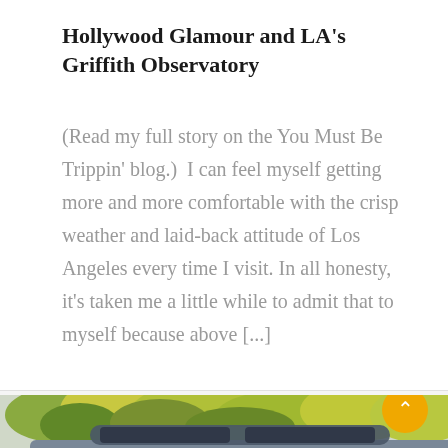Hollywood Glamour and LA's Griffith Observatory
(Read my full story on the You Must Be Trippin' blog.)  I can feel myself getting more and more comfortable with the crisp weather and laid-back attitude of Los Angeles every time I visit. In all honesty, it's taken me a little while to admit that to myself because above [...]
[Figure (photo): Outdoor photo showing trees with yellow-green foliage in background and a car with a person partially visible, taken at Griffith Observatory area in Los Angeles]